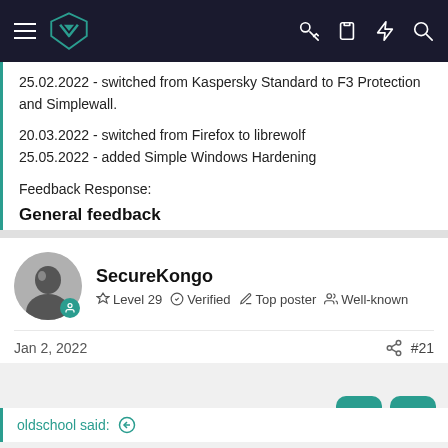Navigation bar with logo and icons
25.02.2022 - switched from Kaspersky Standard to F3 Protection and Simplewall.
20.03.2022 - switched from Firefox to librewolf
25.05.2022 - added Simple Windows Hardening
Feedback Response:
General feedback
SecureKongo
Level 29  Verified  Top poster  Well-known
Jan 2, 2022
#21
oldschool said: